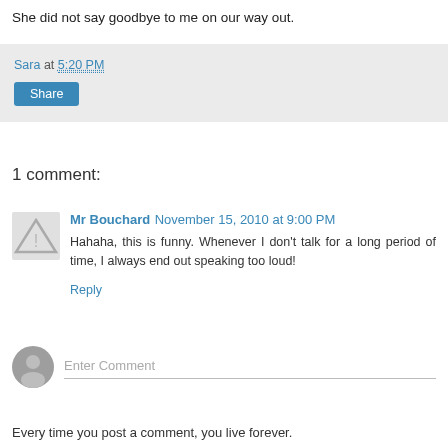She did not say goodbye to me on our way out.
Sara at 5:20 PM
Share
1 comment:
Mr Bouchard November 15, 2010 at 9:00 PM
Hahaha, this is funny. Whenever I don't talk for a long period of time, I always end out speaking too loud!
Reply
Enter Comment
Every time you post a comment, you live forever.